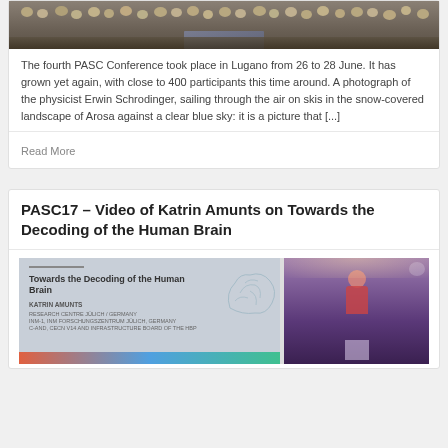[Figure (photo): Audience seated in a conference hall, viewed from behind, with a presentation screen visible at the front]
The fourth PASC Conference took place in Lugano from 26 to 28 June. It has grown yet again, with close to 400 participants this time around. A photograph of the physicist Erwin Schrodinger, sailing through the air on skis in the snow-covered landscape of Arosa against a clear blue sky: it is a picture that [...]
Read More
PASC17 – Video of Katrin Amunts on Towards the Decoding of the Human Brain
[Figure (photo): Split image showing a presentation slide titled 'Towards the Decoding of the Human Brain' by Katrin Amunts on the left, and a speaker presenting at a podium on the right]